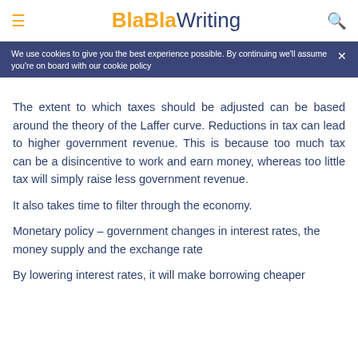BlaBlaWriting
We use cookies to give you the best experience possible. By continuing we'll assume you're on board with our cookie policy
The extent to which taxes should be adjusted can be based around the theory of the Laffer curve. Reductions in tax can lead to higher government revenue. This is because too much tax can be a disincentive to work and earn money, whereas too little tax will simply raise less government revenue.
It also takes time to filter through the economy.
Monetary policy – government changes in interest rates, the money supply and the exchange rate
By lowering interest rates, it will make borrowing cheaper